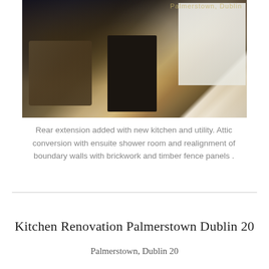[Figure (photo): Interior photo of a kitchen extension at night showing a dark island unit, white cabinetry, beige/tan polished tile floor, dining chairs on the left, and glass doors opening to a garden.]
Rear extension added with new kitchen and utility. Attic conversion with ensuite shower room and realignment of boundary walls with brickwork and timber fence panels .
Read More
Kitchen Renovation Palmerstown Dublin 20
Palmerstown, Dublin 20